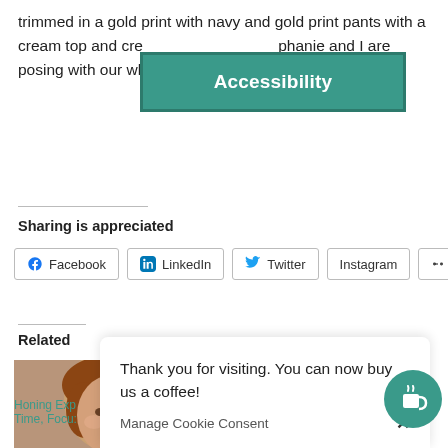trimmed in a gold print with navy and gold print pants with a cream top and cream shoes. Beth Stephanie and I are posing with our white can
[Figure (screenshot): Accessibility button overlay in teal/green color]
Sharing is appreciated
Facebook  LinkedIn  Twitter  Instagram  More
Related
[Figure (photo): Close-up photo of a woman with short reddish-brown hair]
[Figure (photo): Photo of a woman with dark hair smiling, with overlay text about refused, solely, At that, park]
Honing Exp
Time, Focu:
park
Thank you for visiting. You can now buy us a coffee!
Manage Cookie Consent  ×